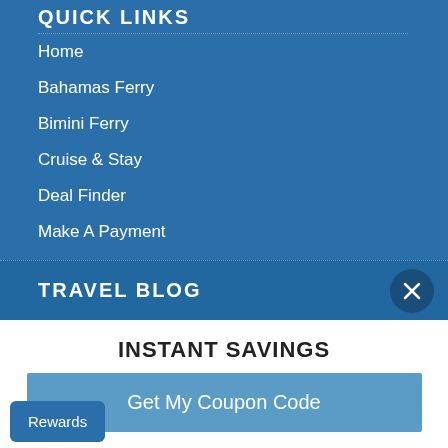QUICK LINKS
Home
Bahamas Ferry
Bimini Ferry
Cruise & Stay
Deal Finder
Make A Payment
Contact
800.991.0623
TRAVEL BLOG
INSTANT SAVINGS
Get My Coupon Code
Rewards